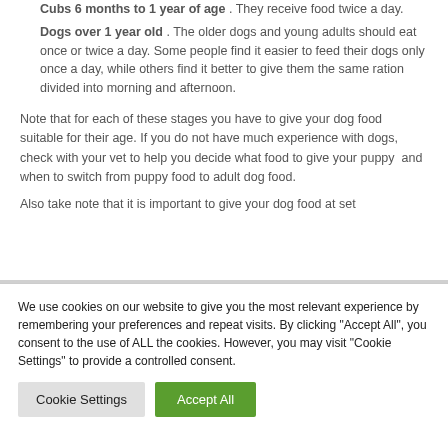Cubs 6 months to 1 year of age . They receive food twice a day.
Dogs over 1 year old . The older dogs and young adults should eat once or twice a day. Some people find it easier to feed their dogs only once a day, while others find it better to give them the same ration divided into morning and afternoon.
Note that for each of these stages you have to give your dog food suitable for their age. If you do not have much experience with dogs, check with your vet to help you decide what food to give your puppy  and when to switch from puppy food to adult dog food.
Also take note that it is important to give your dog food at set
We use cookies on our website to give you the most relevant experience by remembering your preferences and repeat visits. By clicking "Accept All", you consent to the use of ALL the cookies. However, you may visit "Cookie Settings" to provide a controlled consent.